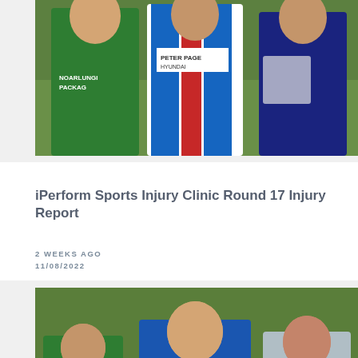[Figure (photo): Three men on a sports field — one in green jersey (NOARLUNGI PACKAG), one in blue/red/white striped jersey (PETER PAGE HYUNDAI), one in dark top — posing together on green grass.]
INJURY REPORT
iPerform Sports Injury Clinic Round 17 Injury Report
2 WEEKS AGO
11/08/2022
[Figure (photo): Three AFL footballers on a green grass field — one in green jersey, one in blue/red jersey with NB logo, one in light top — appearing to assist an injured player.]